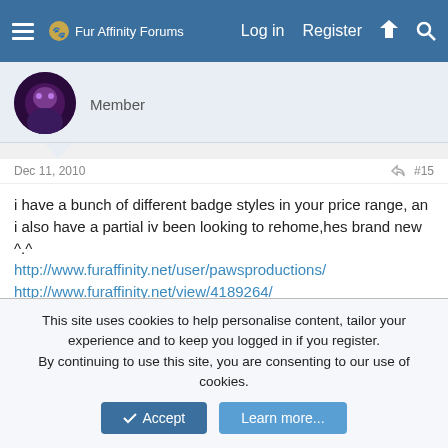Fur Affinity Forums — Log in | Register
Member
Dec 11, 2010  #15
i have a bunch of different badge styles in your price range, an i also have a partial iv been looking to rehome,hes brand new ^.^
http://www.furaffinity.net/user/pawsproductions/
http://www.furaffinity.net/view/4189264/
Kyuusho
Mistress of the Winged Foxes
Dec 11, 2010  #16
This site uses cookies to help personalise content, tailor your experience and to keep you logged in if you register.
By continuing to use this site, you are consenting to our use of cookies.